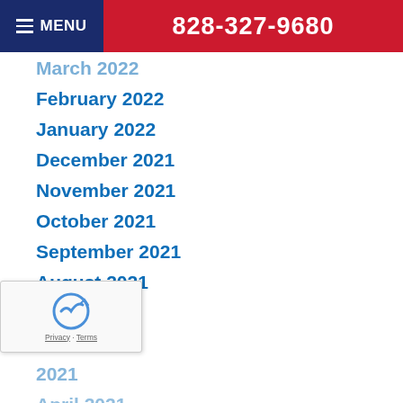MENU  828-327-9680
March 2022
February 2022
January 2022
December 2021
November 2021
October 2021
September 2021
August 2021
July 2021
June 2021
May 2021
April 2021